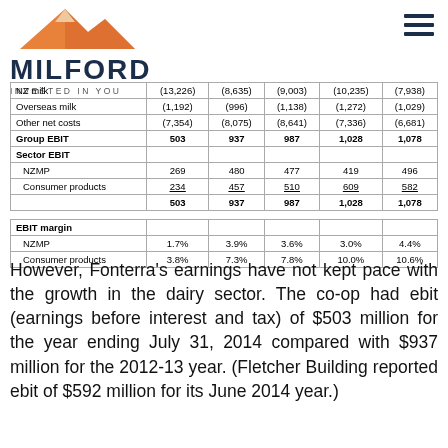[Figure (logo): Milford Asset Management logo with orange mountain graphic and text MILFORD INVESTED IN YOU]
|  |  |  |  |  |  |
| --- | --- | --- | --- | --- | --- |
| NZ milk | (13,226) | (8,635) | (9,003) | (10,235) | (7,938) |
| Overseas milk | (1,192) | (996) | (1,138) | (1,272) | (1,029) |
| Other net costs | (7,354) | (8,075) | (8,641) | (7,336) | (6,681) |
| Group EBIT | 503 | 937 | 987 | 1,028 | 1,078 |
| Sector EBIT |  |  |  |  |  |
| NZMP | 269 | 480 | 477 | 419 | 496 |
| Consumer products | 234 | 457 | 510 | 609 | 582 |
|  | 503 | 937 | 987 | 1,028 | 1,078 |
| EBIT margin |  |  |  |  |  |
| NZMP | 1.7% | 3.9% | 3.6% | 3.0% | 4.4% |
| Consumer products | 3.8% | 7.3% | 7.8% | 10.0% | 10.6% |
However, Fonterra's earnings have not kept pace with the growth in the dairy sector. The co-op had ebit (earnings before interest and tax) of $503 million for the year ending July 31, 2014 compared with $937 million for the 2012-13 year. (Fletcher Building reported ebit of $592 million for its June 2014 year.)